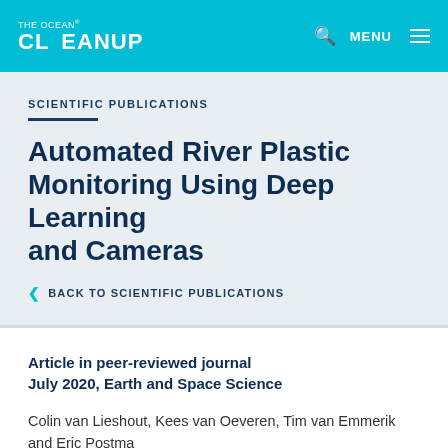THE OCEAN CLEANUP — MENU
SCIENTIFIC PUBLICATIONS
Automated River Plastic Monitoring Using Deep Learning and Cameras
< BACK TO SCIENTIFIC PUBLICATIONS
Article in peer-reviewed journal
July 2020, Earth and Space Science
Colin van Lieshout, Kees van Oeveren, Tim van Emmerik and Eric Postma
Publication journal: Earth and Space Science